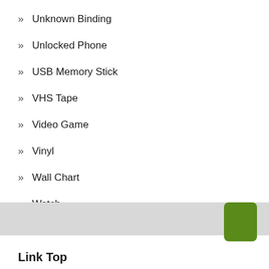Unknown Binding
Unlocked Phone
USB Memory Stick
VHS Tape
Video Game
Vinyl
Wall Chart
Watch
Wireless Phone Accessory
Link Top